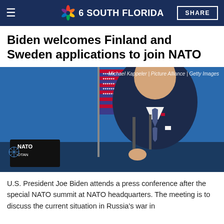NBC 6 South Florida | SHARE
Biden welcomes Finland and Sweden applications to join NATO
[Figure (photo): U.S. President Joe Biden at a podium with microphones, gesturing with his hand, wearing a dark suit with American flag pin. NATO signage visible in background along with an American flag. Photo credit: Michael Kappeler | Picture Alliance | Getty Images]
U.S. President Joe Biden attends a press conference after the special NATO summit at NATO headquarters. The meeting is to discuss the current situation in Russia's war in Ukraine.